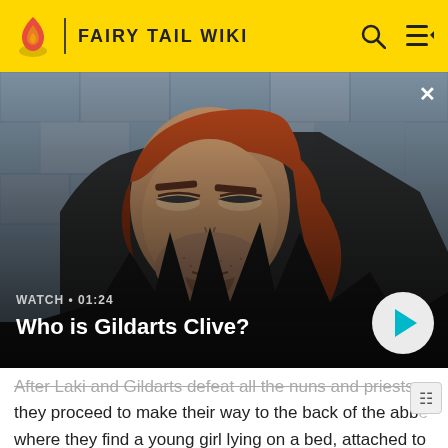FAIRY TAIL WIKI
[Figure (screenshot): Anime screenshot of Gildarts Clive, a large man with red-orange hair and a beard, wearing a dark coat with spiked collar, looking sideways against a stone wall background.]
WATCH • 01:24
Who is Gildarts Clive?
After Laki and Gildarts defeat all the nuns and priests, they proceed to make their way to the back of the abbey where they find a young girl lying on a bed, attached to Lacrima; Laki explains that the Lacrima is there to keep her in a coma. When Laki informs him that the girl is Michelle Lobster, Gildarts wonders who the girl with Lucy